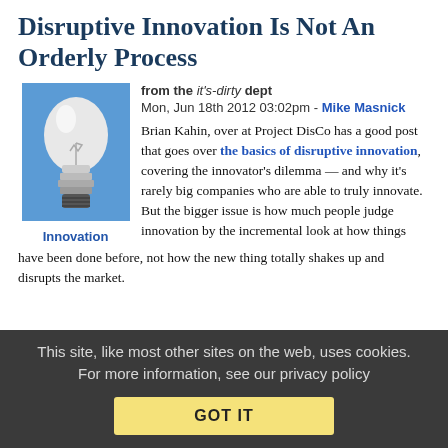Disruptive Innovation Is Not An Orderly Process
from the it's-dirty dept
Mon, Jun 18th 2012 03:02pm - Mike Masnick
[Figure (illustration): Light bulb illustration on blue background, labeled Innovation]
Brian Kahin, over at Project DisCo has a good post that goes over the basics of disruptive innovation, covering the innovator's dilemma — and why it's rarely big companies who are able to truly innovate. But the bigger issue is how much people judge innovation by the incremental look at how things have been done before, not how the new thing totally shakes up and disrupts the market.
This site, like most other sites on the web, uses cookies. For more information, see our privacy policy
GOT IT